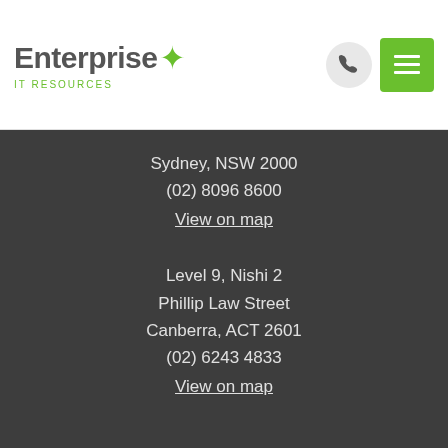[Figure (logo): Enterprise IT Resources logo with star icon]
Sydney, NSW 2000
(02) 8096 8600
View on map
Level 9, Nishi 2
Phillip Law Street
Canberra, ACT 2601
(02) 6243 4833
View on map